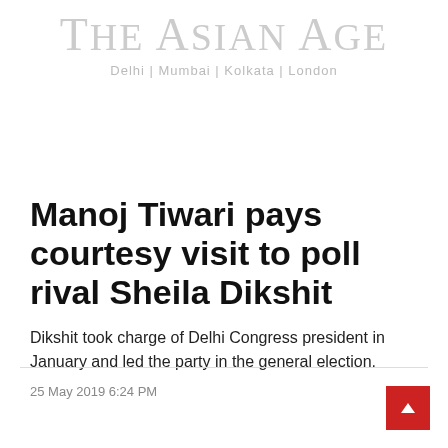THE ASIAN AGE
Delhi | Mumbai | Kolkata | London
Manoj Tiwari pays courtesy visit to poll rival Sheila Dikshit
Dikshit took charge of Delhi Congress president in January and led the party in the general election.
25 May 2019 6:24 PM